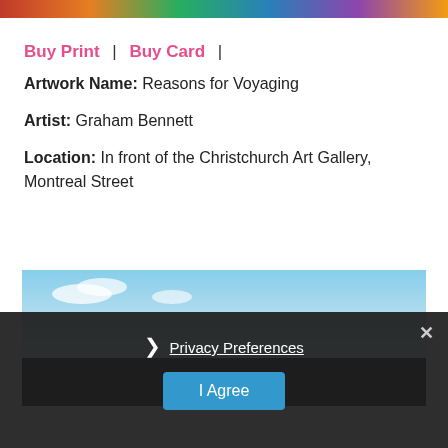[Figure (photo): Top image strip showing partial artwork photos in a horizontal strip]
Buy Print  |  Buy Card  |
Artwork Name: Reasons for Voyaging
Artist: Graham Bennett
Location: In front of the Christchurch Art Gallery, Montreal Street
[Figure (photo): Photograph of outdoor artwork showing blue sky with white clouds]
Privacy Preferences
I Agree